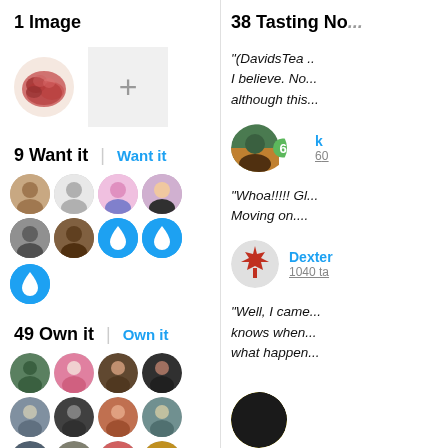1 Image
[Figure (photo): A small dried tea/berry blend photo and an add image box with a plus sign]
9 Want it  |  Want it
[Figure (photo): Row of 9 user avatar circles for want-it users, including blue water drop icons]
49 Own it  |  Own it
[Figure (photo): Rows of user avatar circles for own-it users, with +34 overflow indicator]
38 Tasting No...
"(DavidsTea ... I believe. No... although this...
[Figure (photo): Reviewer avatar with score badge 65 and username starting with k, 6(0) tasting notes]
"Whoa!!!!! Gl... Moving on....
[Figure (photo): Dexter reviewer avatar with red maple leaf, name Dexter, 1040 tasting notes]
"Well, I came... knows when... what happen...
[Figure (photo): Partial yellow and black avatar at bottom of right column]